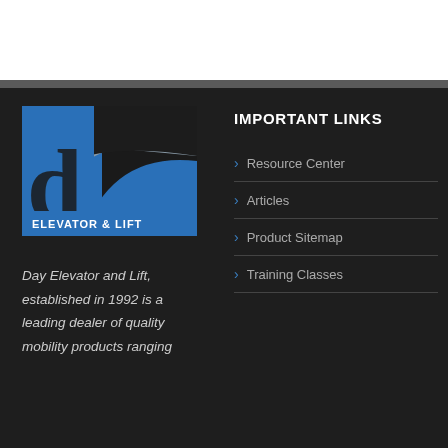[Figure (logo): Day Elevator & Lift company logo — blue square with curved arch design and 'd' letterform, with 'ELEVATOR & LIFT' text below]
Day Elevator and Lift, established in 1992 is a leading dealer of quality mobility products ranging
IMPORTANT LINKS
Resource Center
Articles
Product Sitemap
Training Classes